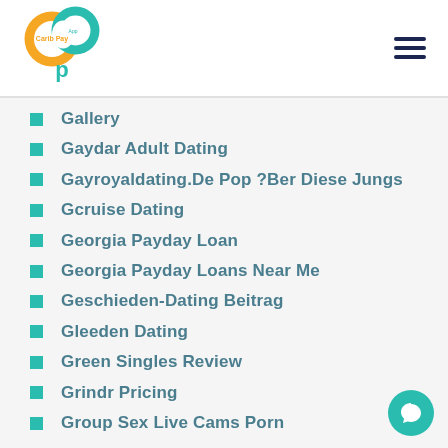[Figure (logo): Carib Pay App logo — orange and teal circular interlinked letters C and P]
Gallery
Gaydar Adult Dating
Gayroyaldating.De Pop ?Ber Diese Jungs
Gcruise Dating
Georgia Payday Loan
Georgia Payday Loans Near Me
Geschieden-Dating Beitrag
Gleeden Dating
Green Singles Review
Grindr Pricing
Group Sex Live Cams Porn